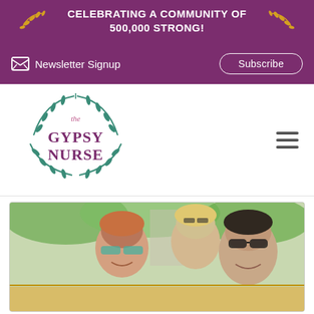CELEBRATING A COMMUNITY OF 500,000 STRONG!
Newsletter Signup
Subscribe
[Figure (logo): The Gypsy Nurse logo with teal laurel wreath and purple bold text reading 'the GYPSY NURSE']
[Figure (photo): Three young people smiling and wearing sunglasses, riding what appears to be an open-air vehicle, with green trees in background]